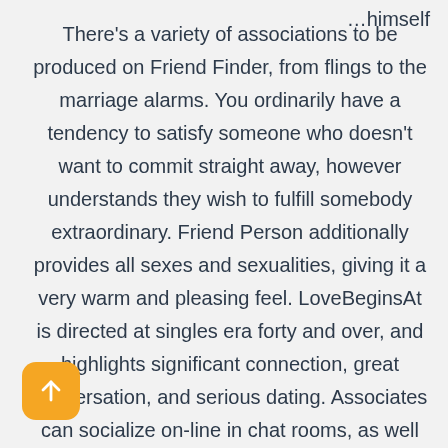…himself
There's a variety of associations to be produced on Friend Finder, from flings to the marriage alarms. You ordinarily have a tendency to satisfy someone who doesn't want to commit straight away, however understands they wish to fulfill somebody extraordinary. Friend Person additionally provides all sexes and sexualities, giving it a very warm and pleasing feel. LoveBeginsAt is directed at singles era forty and over, and highlights significant connection, great conversation, and serious dating. Associates can socialize on-line in chat rooms, as well as the site, as well